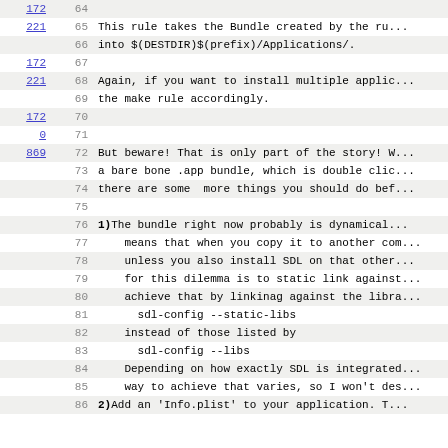Line 64: 172
Line 65: 221 - This rule takes the Bundle created by the ru...
Line 66: into $(DESTDIR)$(prefix)/Applications/.
Line 67: 172
Line 68: 221 - Again, if you want to install multiple applic...
Line 69: the make rule accordingly.
Line 70: 172
Line 71: 0
Line 72: 869 - But beware! That is only part of the story! W...
Line 73: a bare bone .app bundle, which is double cli...
Line 74: there are some  more things you should do bef...
Line 75:
Line 76: 1) The bundle right now probably is dynamical...
Line 77:     means that when you copy it to another com...
Line 78:     unless you also install SDL on that other...
Line 79:     for this dilemma is to static link against...
Line 80:     achieve that by linkinag against the libra...
Line 81:       sdl-config --static-libs
Line 82:     instead of those listed by
Line 83:       sdl-config --libs
Line 84:     Depending on how exactly SDL is integrated...
Line 85:     way to achieve that varies, so I won't des...
Line 86: 2) Add an 'Info.plist' to your application. T...